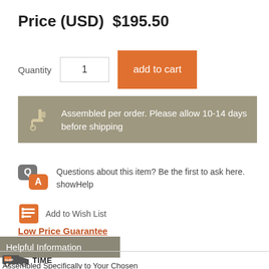Price (USD)  $195.50
Quantity  1  add to cart
Assembled per order. Please allow 10-14 days before shipping
Questions about this item? Be the first to ask here. showHelp
Add to Wish List
Low Price Guarantee
Helpful Information
SHIP TIME
Assembled Specifically to Your Chosen Options